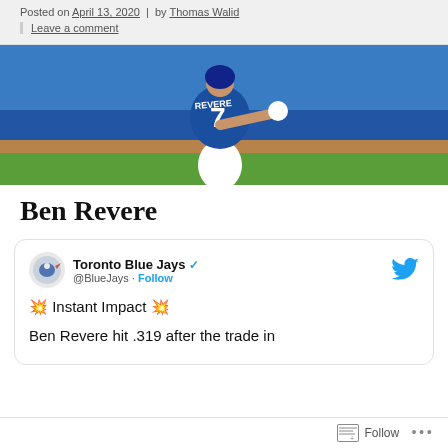Posted on April 13, 2020 | by Thomas Walid
Leave a comment
[Figure (photo): Baseball player wearing Toronto Blue Jays #7 jersey in blue and white uniform, seen from behind, on a baseball field]
Ben Revere
[Figure (screenshot): Tweet from Toronto Blue Jays @BlueJays with verified checkmark and Follow button. Tweet text: '💥 Instant Impact 💥

Ben Revere hit .319 after the trade in...' (text cut off)]